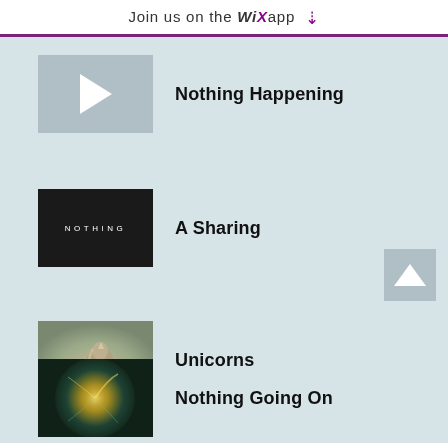Join us on the WiX app ⬇
Nothing Happening
A Sharing
Unicorns
Nothing Going On